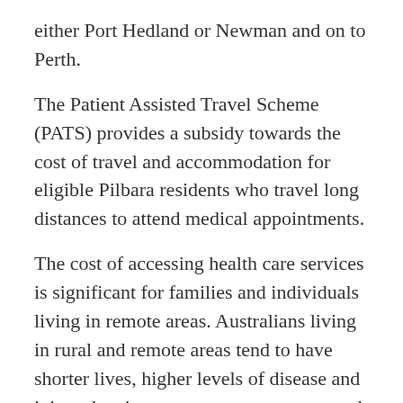either Port Hedland or Newman and on to Perth.
The Patient Assisted Travel Scheme (PATS) provides a subsidy towards the cost of travel and accommodation for eligible Pilbara residents who travel long distances to attend medical appointments.
The cost of accessing health care services is significant for families and individuals living in remote areas. Australians living in rural and remote areas tend to have shorter lives, higher levels of disease and injury due, in part to poorer access to and use of health services compared to people living in metropolitan areas.
The availability of assistance schemes such as PATS and travel support through PAMS results in